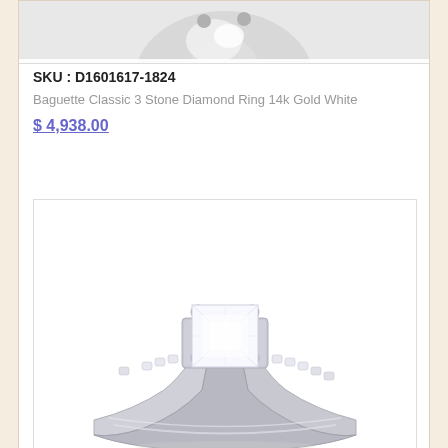[Figure (photo): Partial top view of a diamond ring on white/gray background, cropped at the top of the page]
SKU : D1601617-1824
Baguette Classic 3 Stone Diamond Ring 14k Gold White
$ 4,938.00
[Figure (photo): Princess cut diamond solitaire ring with channel-set side stones on white gold band, shown on white background]